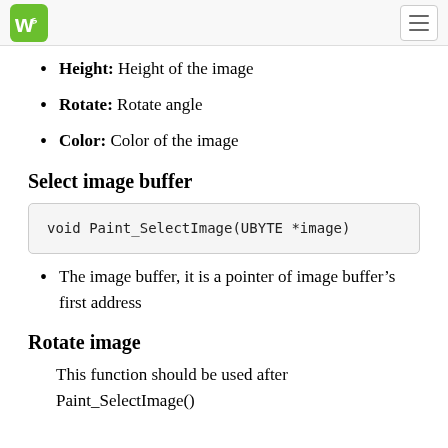WS logo and navigation
Height: Height of the image
Rotate: Rotate angle
Color: Color of the image
Select image buffer
[Figure (screenshot): Code block showing: void Paint_SelectImage(UBYTE *image)]
The image buffer, it is a pointer of image buffer's first address
Rotate image
This function should be used after Paint_SelectImage()